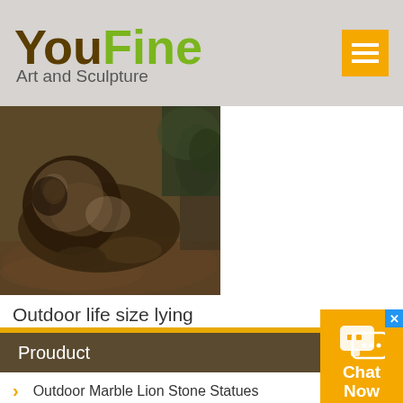YouFine Art and Sculpture
[Figure (photo): A bronze lion sculpture lying down outdoors on a gravel surface]
Outdoor life size lying cast bronze lion sculptures for square
Prouduct
Outdoor Marble Lion Stone Statues
Large outdoor strong marble lion statues for garden